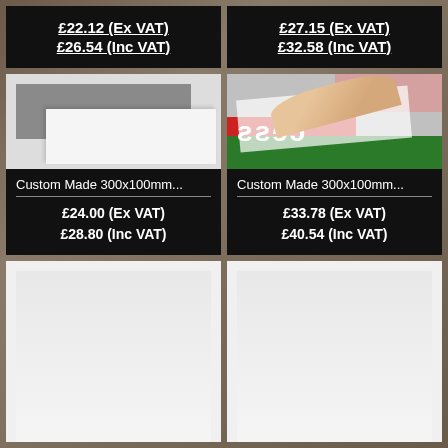£22.12 (Ex VAT)
£26.54 (Inc VAT)
£27.15 (Ex VAT)
£32.58 (Inc VAT)
[Figure (photo): Grey and white foam/board sheets laid flat, showing corner overlap]
Custom Made 300x100mm...
£24.00 (Ex VAT)
£28.80 (Inc VAT)
[Figure (photo): Hands peeling a laminate or vinyl sheet off a printed substrate showing red, green and pink areas with reversed text]
Custom Made 300x100mm...
£33.78 (Ex VAT)
£40.54 (Inc VAT)
[Figure (photo): Partial product image at bottom left, cut off]
[Figure (photo): Partial product image at bottom right, cut off]